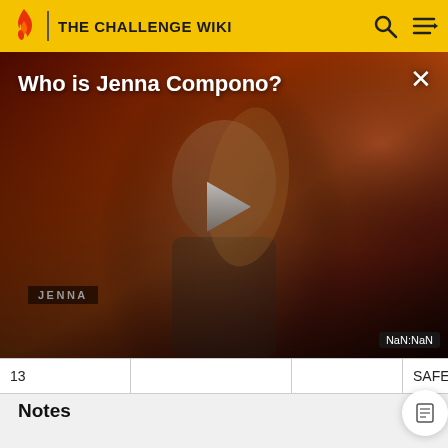THE CHALLENGE WIKI
[Figure (screenshot): Video thumbnail showing a woman with blonde hair against a fiery red/orange background with text 'Who is Jenna Compono?' and a play button. A NaN:NaN timestamp badge is visible at bottom right. A JENNA label is shown at the lower left area.]
| 13 |  |  | SAFE |
| 13/14 | Final Challenge |  | SECON |
Notes